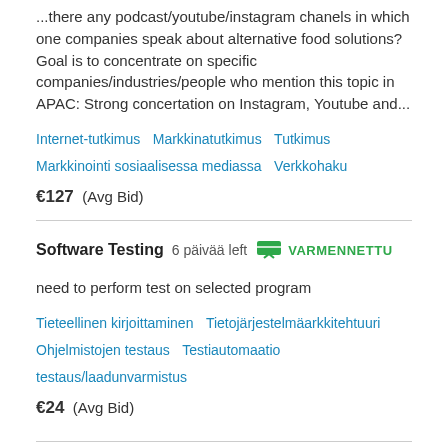...there any podcast/youtube/instagram chanels in which one companies speak about alternative food solutions? Goal is to concentrate on specific companies/industries/people who mention this topic in APAC: Strong concertation on Instagram, Youtube and...
Internet-tutkimus  Markkinatutkimus  Tutkimus  Markkinointi sosiaalisessa mediassa  Verkkohaku
€127  (Avg Bid)
Software Testing  6 päivää left  VARMENNETTU
need to perform test on selected program
Tieteellinen kirjoittaminen  Tietojärjestelmäarkkitehtuuri  Ohjelmistojen testaus  Testiautomaatio  testaus/laadunvarmistus
€24  (Avg Bid)